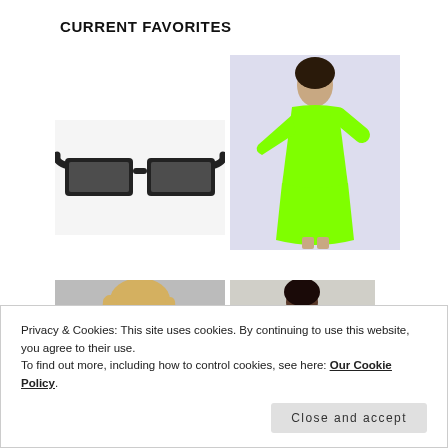CURRENT FAVORITES
[Figure (photo): Black oversized square sunglasses on white background]
[Figure (photo): Woman wearing neon green long-sleeve dress and matching skirt, posing against light background]
[Figure (photo): Blonde woman in orange/red outfit, fashion model shot]
[Figure (photo): Person wearing black shiny jacket, partially visible]
Privacy & Cookies: This site uses cookies. By continuing to use this website, you agree to their use.
To find out more, including how to control cookies, see here: Our Cookie Policy.
Close and accept